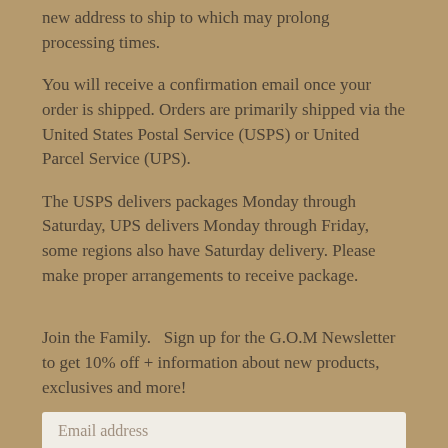new address to ship to which may prolong processing times.
You will receive a confirmation email once your order is shipped. Orders are primarily shipped via the United States Postal Service (USPS) or United Parcel Service (UPS).
The USPS delivers packages Monday through Saturday, UPS delivers Monday through Friday, some regions also have Saturday delivery. Please make proper arrangements to receive package.
Join the Family.   Sign up for the G.O.M Newsletter to get 10% off + information about new products, exclusives and more!
Email address